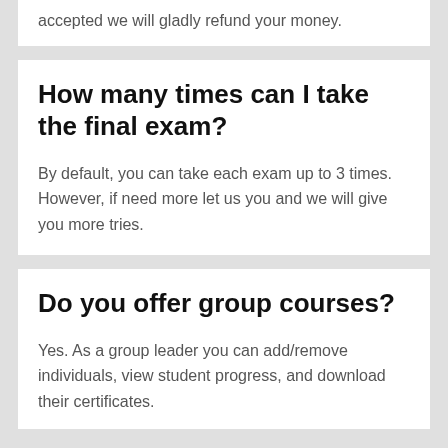accepted we will gladly refund your money.
How many times can I take the final exam?
By default, you can take each exam up to 3 times. However, if need more let us you and we will give you more tries.
Do you offer group courses?
Yes. As a group leader you can add/remove individuals, view student progress, and download their certificates.